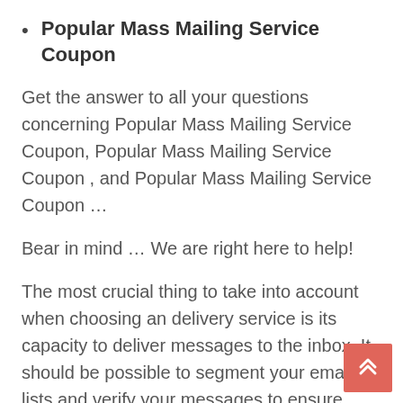Popular Mass Mailing Service Coupon
Get the answer to all your questions concerning Popular Mass Mailing Service Coupon, Popular Mass Mailing Service Coupon , and Popular Mass Mailing Service Coupon …
Bear in mind … We are right here to help!
The most crucial thing to take into account when choosing an delivery service is its capacity to deliver messages to the inbox. It should be possible to segment your email lists and verify your messages to ensure they'll work. You should also be able to monitor and analyze the results of